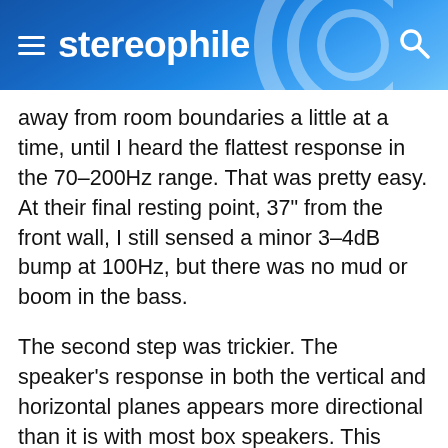stereophile
away from room boundaries a little at a time, until I heard the flattest response in the 70–200Hz range. That was pretty easy. At their final resting point, 37" from the front wall, I still sensed a minor 3–4dB bump at 100Hz, but there was no mud or boom in the bass.
The second step was trickier. The speaker's response in both the vertical and horizontal planes appears more directional than it is with most box speakers. This directionality is exacerbated by the LRS's two-way design—it employs a first-order crossover—and its side-by-side placement of the woofer and tweeter.